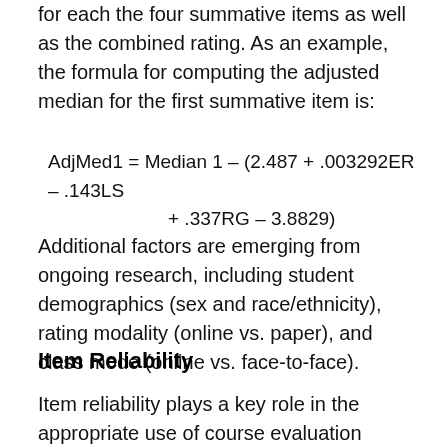for each the four summative items as well as the combined rating. As an example, the formula for computing the adjusted median for the first summative item is:
Additional factors are emerging from ongoing research, including student demographics (sex and race/ethnicity), rating modality (online vs. paper), and class mode (online vs. face-to-face).
Item Reliability
Item reliability plays a key role in the appropriate use of course evaluation results in making both pedagogical and programmatic decisions. The